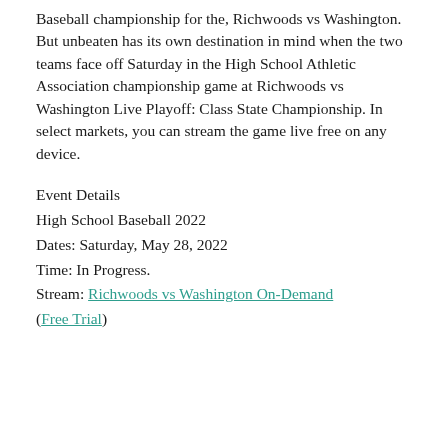Baseball championship for the, Richwoods vs Washington. But unbeaten has its own destination in mind when the two teams face off Saturday in the High School Athletic Association championship game at Richwoods vs Washington Live Playoff: Class State Championship. In select markets, you can stream the game live free on any device.
Event Details
High School Baseball 2022
Dates: Saturday, May 28, 2022
Time: In Progress.
Stream: Richwoods vs Washington On-Demand (Free Trial)